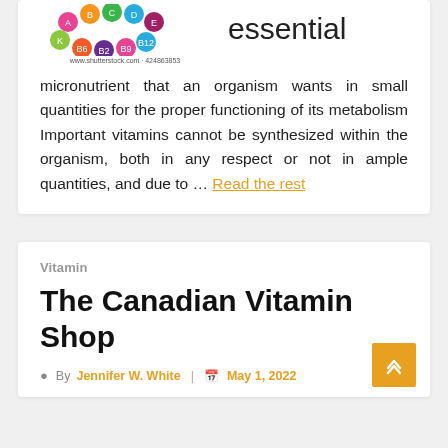[Figure (photo): Colorful vitamin/nutrient icons arranged in a circular pattern from Shutterstock (www.shutterstock.com · 424863853), with the word 'essential' visible to the right]
micronutrient that an organism wants in small quantities for the proper functioning of its metabolism Important vitamins cannot be synthesized within the organism, both in any respect or not in ample quantities, and due to … Read the rest
Vitamin
The Canadian Vitamin Shop
By Jennifer W. White | May 1, 2022